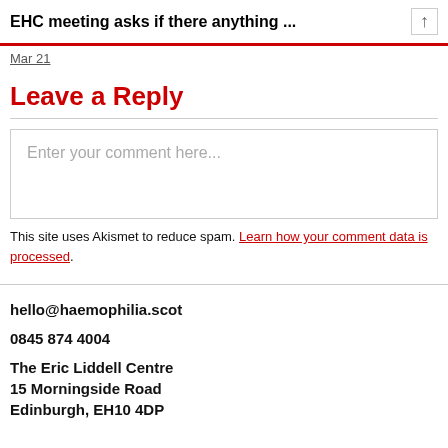EHC meeting asks if there anything ...
Leave a Reply
Enter your comment here...
This site uses Akismet to reduce spam. Learn how your comment data is processed.
hello@haemophilia.scot
0845 874 4004
The Eric Liddell Centre
15 Morningside Road
Edinburgh, EH10 4DP